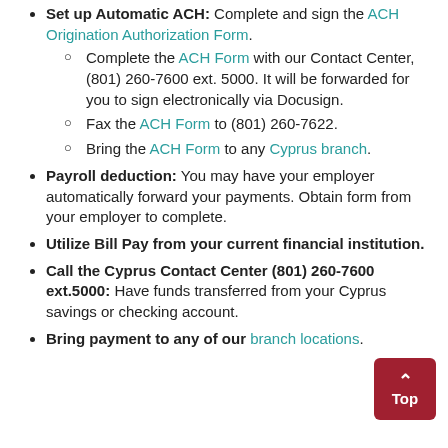Set up Automatic ACH: Complete and sign the ACH Origination Authorization Form. Complete the ACH Form with our Contact Center, (801) 260-7600 ext. 5000. It will be forwarded for you to sign electronically via Docusign. Fax the ACH Form to (801) 260-7622. Bring the ACH Form to any Cyprus branch.
Payroll deduction: You may have your employer automatically forward your payments. Obtain form from your employer to complete.
Utilize Bill Pay from your current financial institution.
Call the Cyprus Contact Center (801) 260-7600 ext.5000: Have funds transferred from your Cyprus savings or checking account.
Bring payment to any of our branch locations.